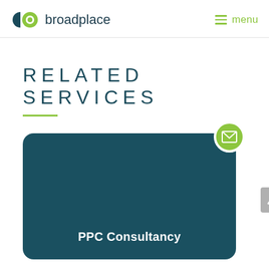broadplace — menu
RELATED SERVICES
[Figure (other): Service card with teal rounded-rectangle background showing 'PPC Consultancy' label, with a green email icon bubble in the top-right corner and a gray scroll-up arrow button to the right]